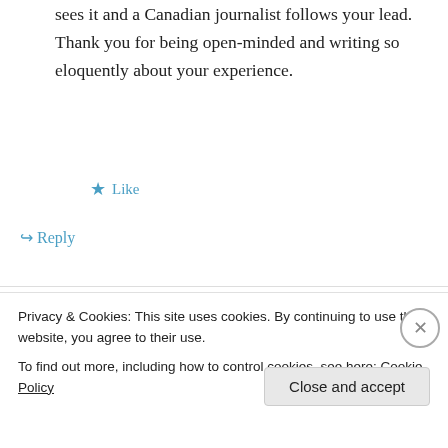sees it and a Canadian journalist follows your lead. Thank you for being open-minded and writing so eloquently about your experience.
★ Like
↪ Reply
iamclarkellis on July 18, 2015 at 2:15 pm
John, thank you for taking an interest and showing your support of us patients suffering with this terrible disease. It takes a special kind
Privacy & Cookies: This site uses cookies. By continuing to use this website, you agree to their use.
To find out more, including how to control cookies, see here: Cookie Policy
Close and accept